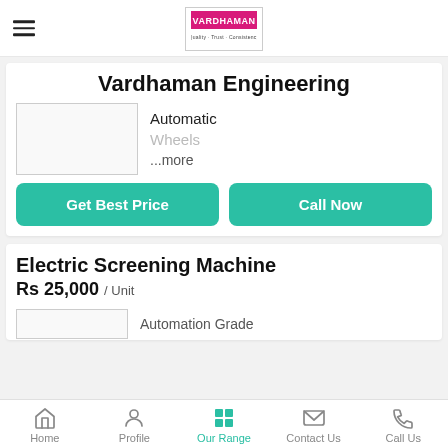[Figure (logo): Vardhaman Engineering logo in top navigation bar]
Vardhaman Engineering
Automatic
Wheels
...more
Get Best Price
Call Now
Electric Screening Machine
Rs 25,000 / Unit
Automation Grade
Home  Profile  Our Range  Contact Us  Call Us